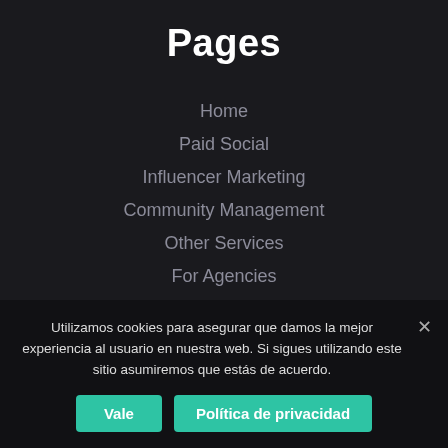Pages
Home
Paid Social
Influencer Marketing
Community Management
Other Services
For Agencies
About Us
Contact
English ▼
Utilizamos cookies para asegurar que damos la mejor experiencia al usuario en nuestra web. Si sigues utilizando este sitio asumiremos que estás de acuerdo.
Vale
Política de privacidad